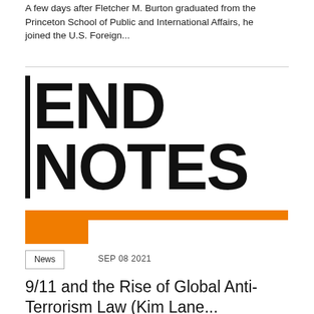A few days after Fletcher M. Burton graduated from the Princeton School of Public and International Affairs, he joined the U.S. Foreign...
END NOTES
[Figure (logo): END NOTES logo in bold black sans-serif text with a vertical black bar on the left side, and an orange L-shaped graphic below]
News   SEP 08 2021
9/11 and the Rise of Global Anti-Terrorism Law (Kim Lane...